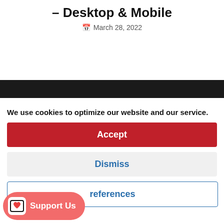– Desktop & Mobile
March 28, 2022
[Figure (screenshot): Dark navigation bar section of a website]
We use cookies to optimize our website and our service.
Accept
Dismiss
references
Support Us